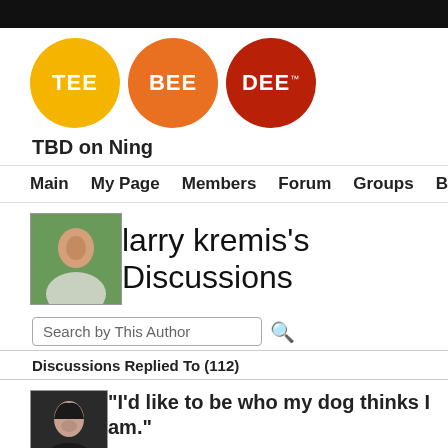[Figure (logo): TBD (Tee Bee Dee) logo with three colored circles: yellow TEE, orange BEE, dark red DEE with TM mark]
TBD on Ning
Main  My Page  Members  Forum  Groups  Blogs  Q & A
larry kremis's Discussions
Search by This Author
Discussions Replied To (112)
"I'd like to be who my dog thinks I am."
Sign in to chat!